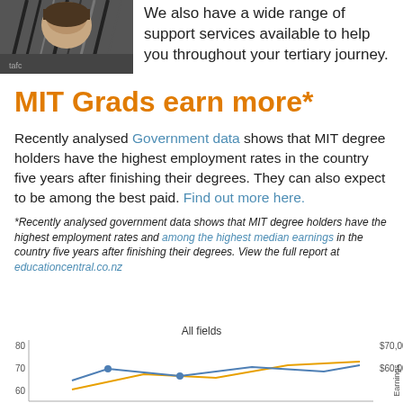[Figure (photo): Photo of a woman in a striped outfit, partially visible at top left]
We also have a wide range of support services available to help you throughout your tertiary journey.
MIT Grads earn more*
Recently analysed Government data shows that MIT degree holders have the highest employment rates in the country five years after finishing their degrees. They can also expect to be among the best paid. Find out more here.
*Recently analysed government data shows that MIT degree holders have the highest employment rates and among the highest median earnings in the country five years after finishing their degrees. View the full report at educationcentral.co.nz
[Figure (line-chart): Partially visible line chart showing employment rates (left y-axis, 60-80) and earnings in dollars (right y-axis, $60,000-$70,000) over time for all fields]